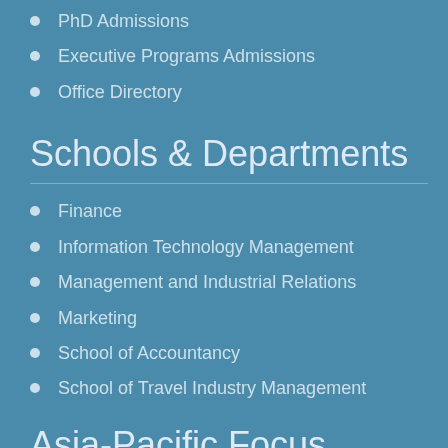PhD Admissions
Executive Programs Admissions
Office Directory
Schools & Departments
Finance
Information Technology Management
Management and Industrial Relations
Marketing
School of Accountancy
School of Travel Industry Management
Asia-Pacific Focus